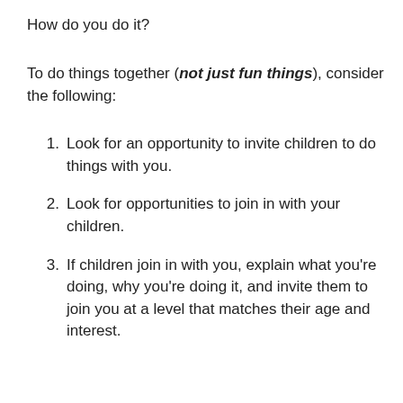How do you do it?
To do things together (not just fun things), consider the following:
Look for an opportunity to invite children to do things with you.
Look for opportunities to join in with your children.
If children join in with you, explain what you’re doing, why you’re doing it, and invite them to join you at a level that matches their age and interest.